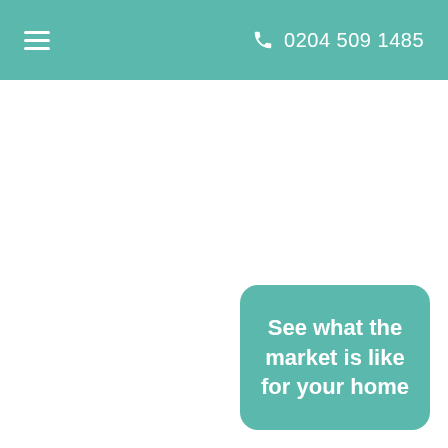≡  0204 509 1485
See what the market is like for your home